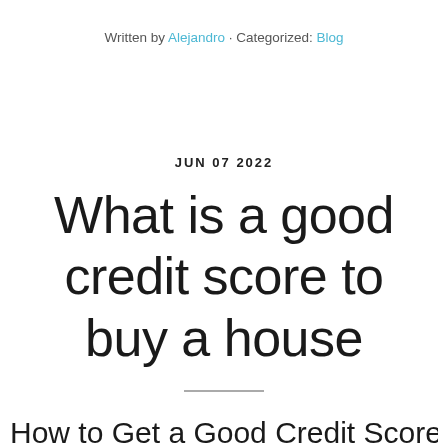Written by Alejandro · Categorized: Blog
JUN 07 2022
What is a good credit score to buy a house
How to Get a Good Credit Score